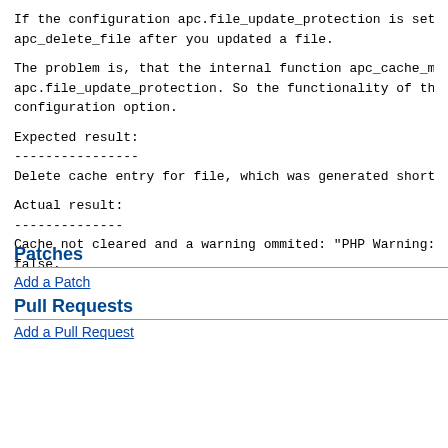If the configuration apc.file_update_protection is set
apc_delete_file after you updated a file.
The problem is, that the internal function apc_cache_ma
apc.file_update_protection. So the functionality of thi
configuration option.
Expected result:
----------------
Delete cache entry for file, which was generated shortl
Actual result:
--------------
Cache not cleared and a warning ommited: "PHP Warning: a
false.
Patches
Add a Patch
Pull Requests
Add a Pull Request